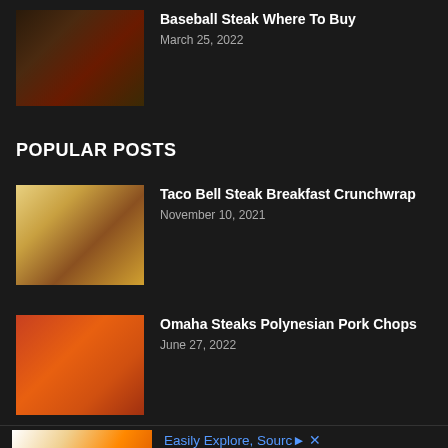[Figure (photo): Close-up of a seasoned steak with herbs on top]
Baseball Steak Where To Buy
March 25, 2022
POPULAR POSTS
[Figure (photo): Taco Bell steak breakfast crunchwrap cut open showing steak and egg filling]
Taco Bell Steak Breakfast Crunchwrap
November 10, 2021
[Figure (photo): Omaha Steaks polynesian pork chops with colorful garnish]
Omaha Steaks Polynesian Pork Chops
June 27, 2022
[Figure (photo): Advertisement image showing industrial flame and orange circular object]
Easily Explore, Source and Procure New-to-you Manufacturing Services
Ad